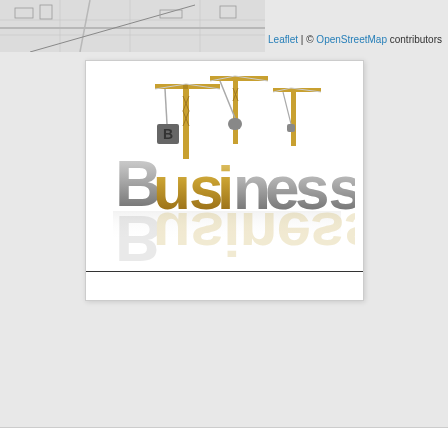Leaflet | © OpenStreetMap contributors
[Figure (illustration): 3D illustration of the word 'Business' constructed with large metallic letters (gold/silver tones), with three construction cranes lifting letters above the text, on a white background with reflections.]